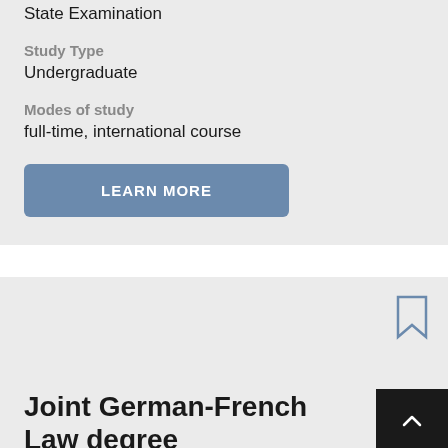State Examination
Study Type
Undergraduate
Modes of study
full-time, international course
LEARN MORE
Joint German-French Law degree